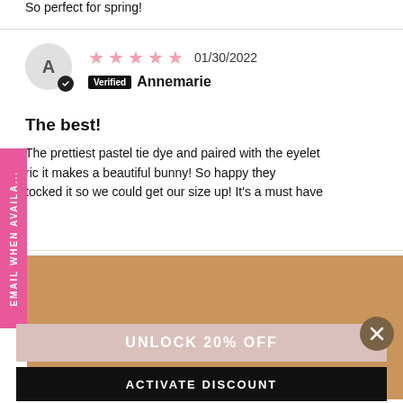So perfect for spring!
01/30/2022 Verified Annemarie
The best!
The prettiest pastel tie dye and paired with the eyelet ric it makes a beautiful bunny! So happy they tocked it so we could get our size up! It's a must have
EMAIL WHEN AVAILABLE
[Figure (screenshot): Tan/brown popup overlay with JOIN OUR LIST FOR text]
JOIN OUR LIST FOR
UNLOCK 20% OFF
ACTIVATE DISCOUNT